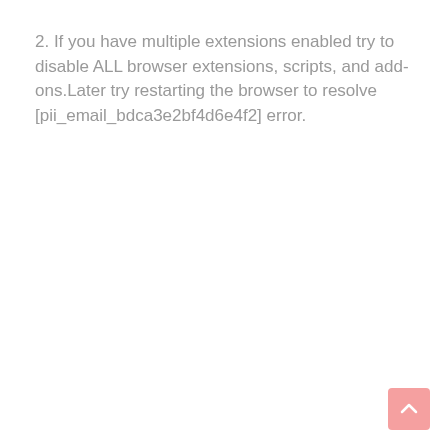2. If you have multiple extensions enabled try to disable ALL browser extensions, scripts, and add-ons.Later try restarting the browser to resolve [pii_email_bdca3e2bf4d6e4f2] error.